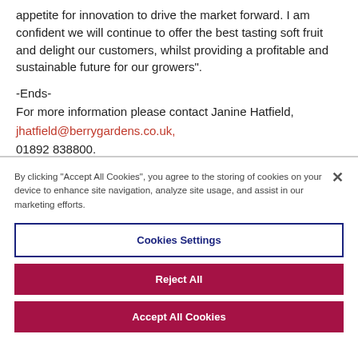appetite for innovation to drive the market forward. I am confident we will continue to offer the best tasting soft fruit and delight our customers, whilst providing a profitable and sustainable future for our growers".
-Ends-
For more information please contact Janine Hatfield,
jhatfield@berrygardens.co.uk,
01892 838800.
By clicking "Accept All Cookies", you agree to the storing of cookies on your device to enhance site navigation, analyze site usage, and assist in our marketing efforts.
Cookies Settings
Reject All
Accept All Cookies